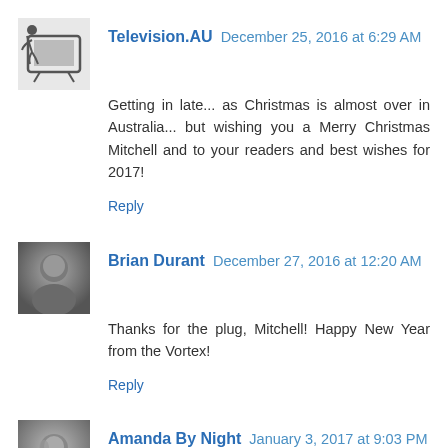Television.AU  December 25, 2016 at 6:29 AM
Getting in late... as Christmas is almost over in Australia... but wishing you a Merry Christmas Mitchell and to your readers and best wishes for 2017!
Reply
Brian Durant  December 27, 2016 at 12:20 AM
Thanks for the plug, Mitchell! Happy New Year from the Vortex!
Reply
Amanda By Night  January 3, 2017 at 9:03 PM
I don't my last comment took, so forgive me if this comes up twice. I just wanted to thank you for sharing the linkage. It is MOST appreciated. And I hope you had a great holiday and have a wonderful 2017! :) Take care, and thanks